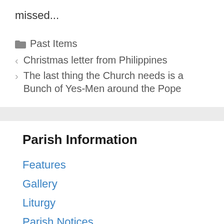missed...
Past Items
< Christmas letter from Philippines
> The last thing the Church needs is a Bunch of Yes-Men around the Pope
Parish Information
Features
Gallery
Liturgy
Parish Notices